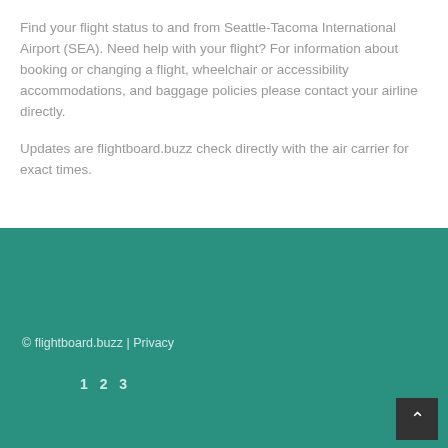Find your flight status to and from Seattle-Tacoma International Airport (SEA). Need help with your flight? For information about booking or changing a flight, wheelchair or accessibility accommodations, and baggage policies please contact your airline directly.
Updates are flightboard.buzz check directly with the air carrier for exact times.
© flightboard.buzz | Privacy
1 2 3